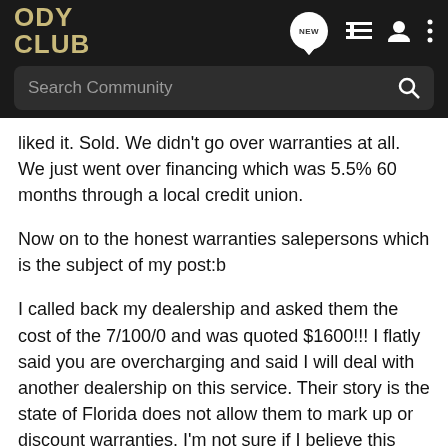ODY CLUB
Search Community
liked it. Sold. We didn't go over warranties at all. We just went over financing which was 5.5% 60 months through a local credit union.
Now on to the honest warranties salepersons which is the subject of my post:b
I called back my dealership and asked them the cost of the 7/100/0 and was quoted $1600!!! I flatly said you are overcharging and said I will deal with another dealership on this service. Their story is the state of Florida does not allow them to mark up or discount warranties. I'm not sure if I believe this since Ryan6371 from St. Petersburgh, FL said he was quoted $1200. I wanted to buy the extended warranty at the same dealership so I could include it with my financing. I started